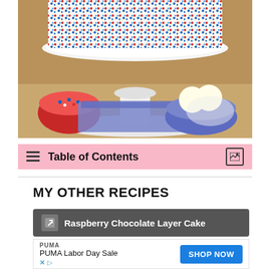[Figure (photo): A white cake stand holds a round cake covered in red, white, and blue sprinkles. In the foreground, a red bowl with sprinkles on the left, a blue bowl with white ice cream scoops on the right, and a folded blue cloth napkin. Background is wooden surface.]
☰ Table of Contents
MY OTHER RECIPES
Raspberry Chocolate Layer Cake
PUMA
PUMA Labor Day Sale
SHOP NOW